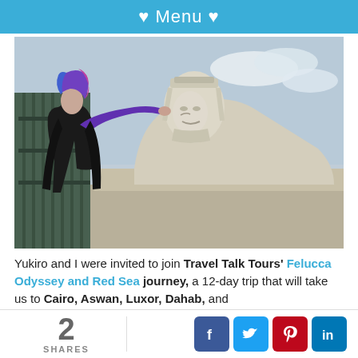♥ Menu ♥
[Figure (photo): A person with colorful purple-blue hair and a black cape/cloak touching the face of a large stone sphinx statue outdoors.]
Yukiro and I were invited to join Travel Talk Tours' Felucca Odyssey and Red Sea journey, a 12-day trip that will take us to Cairo, Aswan, Luxor, Dahab, and more cities. We'll be joining you soon with full...
2 SHARES
[Figure (infographic): Social share buttons: Facebook, Twitter, Pinterest, LinkedIn]